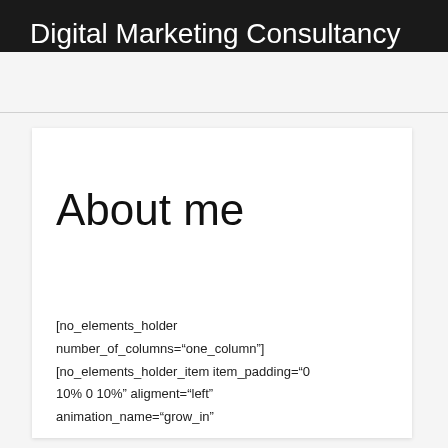Digital Marketing Consultancy
About me
[no_elements_holder number_of_columns="one_column"] [no_elements_holder_item item_padding="0 10% 0 10%" aligment="left" animation_name="grow_in"